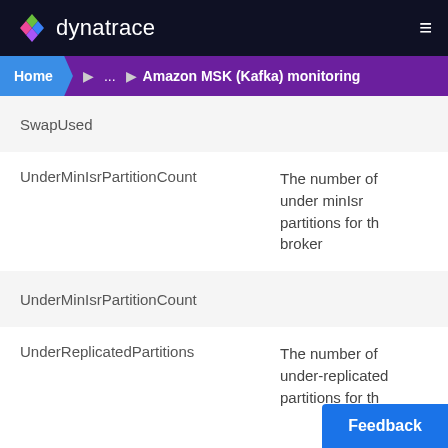dynatrace
Home ... Amazon MSK (Kafka) monitoring
SwapUsed
UnderMinIsrPartitionCount
The number of under minIsr partitions for th broker
UnderMinIsrPartitionCount
UnderReplicatedPartitions
The number of under-replicated partitions for th
Feedback